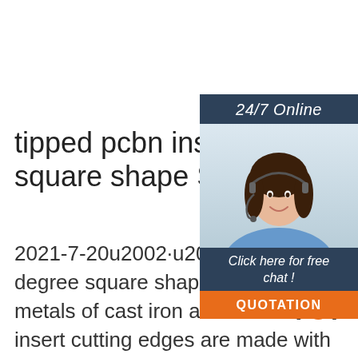tipped pcbn inserts in 90 degree square shape S for hard ...
2021-7-20u2002·u2002tipped pcbn inserts in 90 degree square shape S for hard turning ferrous metals of cast iron and hardened steel, the cbn insert cutting edges are made with polycrystalline cubic boron nitride, indexable inserts with cbn tips are precision cutting tools, which are used in cnc fine finish machining and turning roller, bearing, pumps, automobile brake disk, aircraft jet engine.
[Figure (photo): Customer service agent woman with headset, smiling. Panel includes '24/7 Online' header, 'Click here for free chat!' text, and orange QUOTATION button.]
[Figure (logo): TOP logo with orange dot splatter design and orange circle in letter O]